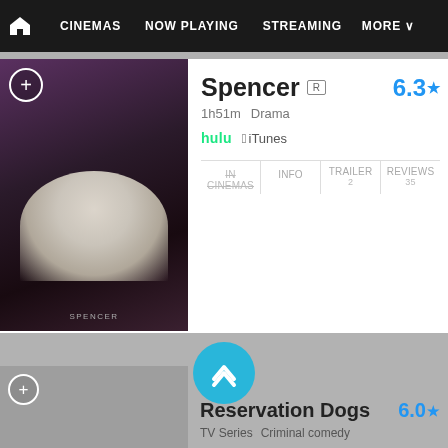CINEMAS  NOW PLAYING  STREAMING  MORE
Spencer  R  6.3
1h51m    Drama
hulu  iTunes
IN CINEMAS  INFO  TRAILER  2  REVIEWS  35
1 Nomination
Best Actress - Drama: Kristen Stewart
Reservation Dogs  6.0
TV Series  Criminal comedy